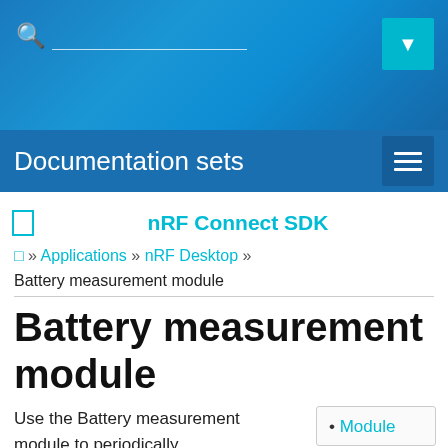Documentation sets
nRF Connect SDK
□ » Applications » nRF Desktop » Battery measurement module
Battery measurement module
Use the Battery measurement module to periodically
Module